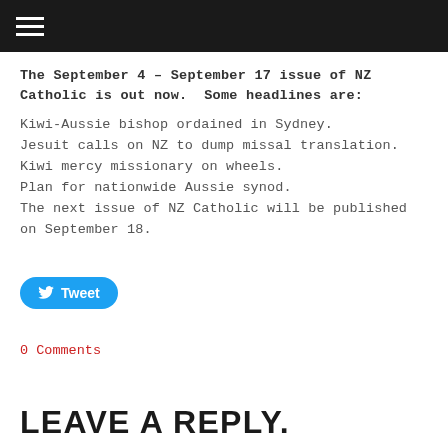≡ (hamburger menu)
The September 4 – September 17 issue of NZ Catholic is out now. Some headlines are:
Kiwi-Aussie bishop ordained in Sydney.
Jesuit calls on NZ to dump missal translation.
Kiwi mercy missionary on wheels.
Plan for nationwide Aussie synod.
The next issue of NZ Catholic will be published on September 18.
[Figure (other): Twitter Tweet button (blue rounded button with bird icon and 'Tweet' text)]
0 Comments
LEAVE A REPLY.